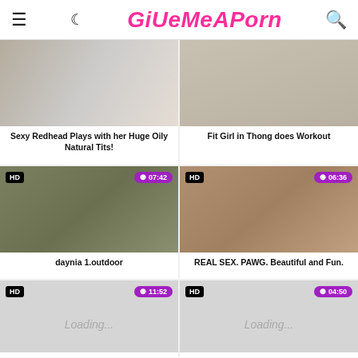GiveMeAPorn
[Figure (screenshot): Thumbnail: Sexy Redhead Plays with her Huge Oily Natural Tits!]
Sexy Redhead Plays with her Huge Oily Natural Tits!
[Figure (screenshot): Thumbnail: Fit Girl in Thong does Workout]
Fit Girl in Thong does Workout
[Figure (screenshot): Thumbnail HD 07:42: daynia 1.outdoor]
daynia 1.outdoor
[Figure (screenshot): Thumbnail HD 06:36: REAL SEX. PAWG. Beautiful and Fun.]
REAL SEX. PAWG. Beautiful and Fun.
[Figure (screenshot): Thumbnail HD 11:52: Loading...]
[Figure (screenshot): Thumbnail HD 04:50: Loading...]